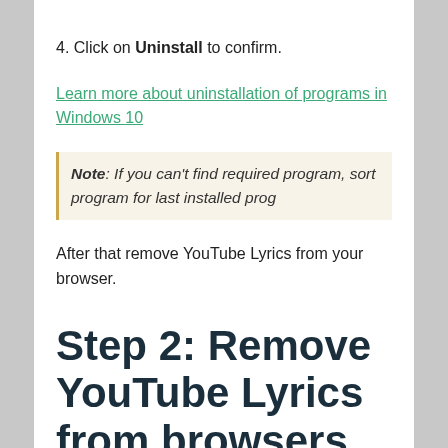4. Click on Uninstall to confirm.
Learn more about uninstallation of programs in Windows 10
Note: If you can't find required program, sort program… for last installed prog…
After that remove YouTube Lyrics from your browser.
Step 2: Remove YouTube Lyrics from browsers